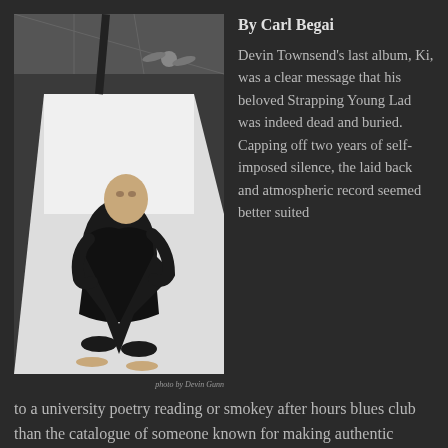[Figure (photo): Black and white photo of a bald man crouching down holding a large V-shaped electric guitar in a bright studio setting. Photo credit: photo by Devin Gunn]
By Carl Begai
Devin Townsend's last album, Ki, was a clear message that his beloved Strapping Young Lad was indeed dead and buried. Capping off two years of self-imposed silence, the laid back and atmospheric record seemed better suited to a university poetry reading or smokey after hours blues club than the catalogue of someone known for making authentic Norwegian black metal seem tame. Townsend was and remains unapologetic for the scare, and as promised he's followed Ki up with the